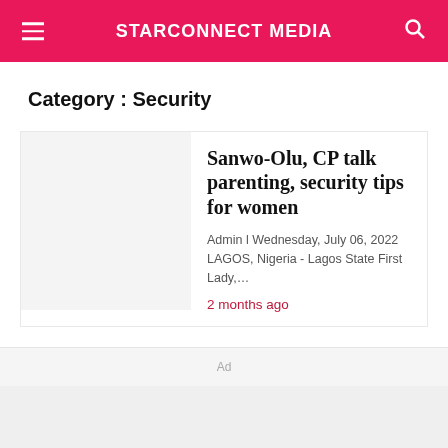STARCONNECT MEDIA
Category : Security
Sanwo-Olu, CP talk parenting, security tips for women
Admin l Wednesday, July 06, 2022   LAGOS, Nigeria - Lagos State First Lady,...
2 months ago
Ad